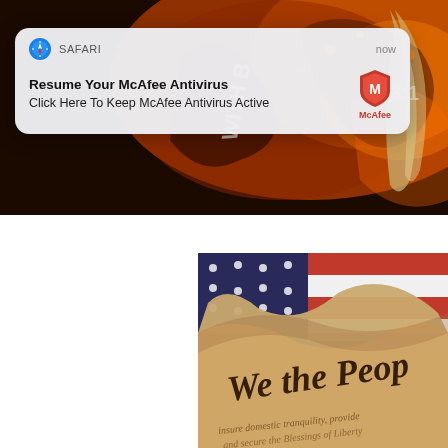[Figure (screenshot): Fiery grunge banner image with orange, brown, and dark tones, text partially visible reading 'WITH B' and '3:1']
[Figure (screenshot): Safari browser push notification popup overlay with McAfee antivirus message: 'Resume Your McAfee Antivirus / Click Here To Keep McAfee Antivirus Active', showing Safari icon, timestamp 'now', and McAfee logo]
[Figure (photo): Photo of US Constitution 'We the People' parchment document rolled open over an American flag background]